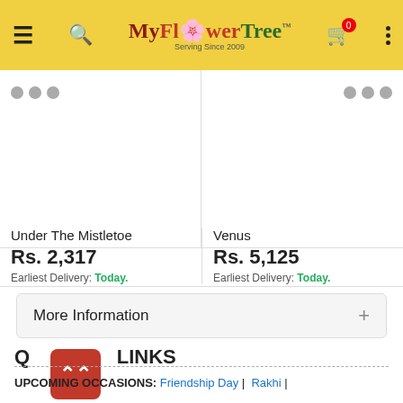MyFlowerTree - Serving Since 2009
[Figure (photo): Product card for Under The Mistletoe with three grey dots indicating image loading]
Under The Mistletoe
Rs. 2,317
Earliest Delivery: Today.
[Figure (photo): Product card for Venus with three grey dots indicating image loading]
Venus
Rs. 5,125
Earliest Delivery: Today.
More Information +
QUICK LINKS
UPCOMING OCCASIONS: Friendship Day | Rakhi | Janmashtami | Teachers Day Gifts | Grandparents Day Gifts | Daughters Day | Parents Day Gifts
TOP SEARCHES: Same Day Delivery | Eggless Cakes |